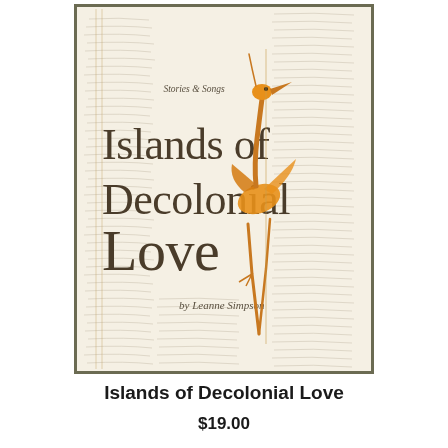[Figure (illustration): Book cover of 'Islands of Decolonial Love: Stories & Songs' by Leanne Simpson. The cover features a cream/beige background with handwritten script text visible throughout. A stylized orange/golden bird (resembling a crane or heron) with long legs and neck is illustrated prominently. The title text 'Islands of Decolonial Love' is displayed in large dark brown serif letters, with 'Stories & Songs' in smaller text above. The author name 'by Leanne Simpson' appears below the title. The cover has a dark olive/brown border.]
Islands of Decolonial Love
$19.00